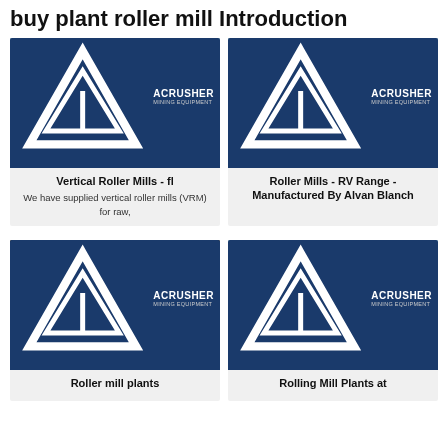buy plant roller mill Introduction
[Figure (photo): Industrial plant with blue conveyors and equipment, with ACRUSHER MINING EQUIPMENT logo badge]
[Figure (photo): Cone crusher industrial equipment on site, with ACRUSHER MINING EQUIPMENT logo badge]
Vertical Roller Mills - fl
We have supplied vertical roller mills (VRM) for raw,
Roller Mills - RV Range - Manufactured By Alvan Blanch
[Figure (photo): Three men in hard hats standing in front of industrial mill equipment, with ACRUSHER MINING EQUIPMENT logo badge]
[Figure (photo): Industrial plant with blue conveyors and crane, with ACRUSHER MINING EQUIPMENT logo badge]
Roller mill plants
Rolling Mill Plants at